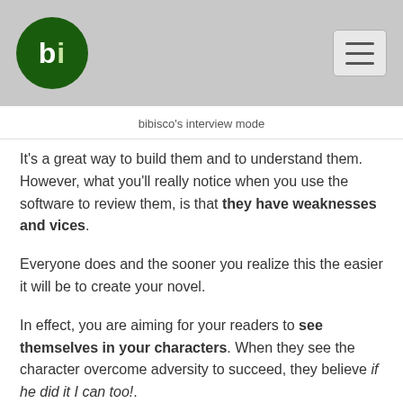bi [logo] | hamburger menu
bibisco's interview mode
It's a great way to build them and to understand them. However, what you'll really notice when you use the software to review them, is that they have weaknesses and vices.
Everyone does and the sooner you realize this the easier it will be to create your novel.
In effect, you are aiming for your readers to see themselves in your characters. When they see the character overcome adversity to succeed, they believe if he did it I can too!.